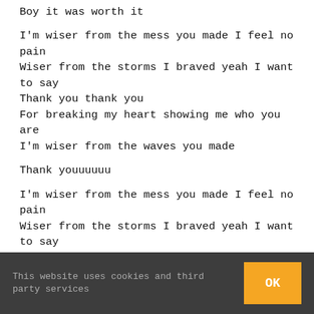Boy it was worth it
I'm wiser from the mess you made I feel no pain
Wiser from the storms I braved yeah I want to say
Thank you thank you
For breaking my heart showing me who you are
I'm wiser from the waves you made
Thank youuuuuu
I'm wiser from the mess you made I feel no pain
Wiser from the storms I braved yeah I want to say
Thank you thank you
For breaking my heart showing me who you are
I'm wiser from the waves you made
This website uses cookies and third party services  OK